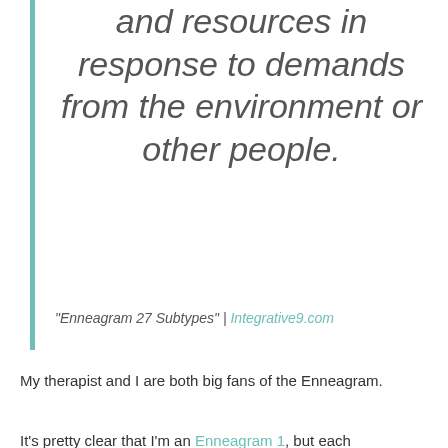and resources in response to demands from the environment or other people.
“Enneagram 27 Subtypes” | Integrative9.com
My therapist and I are both big fans of the Enneagram.
It’s pretty clear that I’m an Enneagram 1, but each